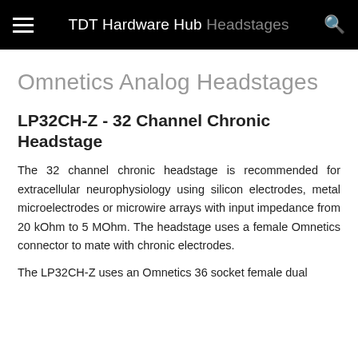TDT Hardware Hub  Headstages
Omnetics Analog Headstages
LP32CH-Z - 32 Channel Chronic Headstage
The 32 channel chronic headstage is recommended for extracellular neurophysiology using silicon electrodes, metal microelectrodes or microwire arrays with input impedance from 20 kOhm to 5 MOhm. The headstage uses a female Omnetics connector to mate with chronic electrodes.
The LP32CH-Z uses an Omnetics 36 socket female dual